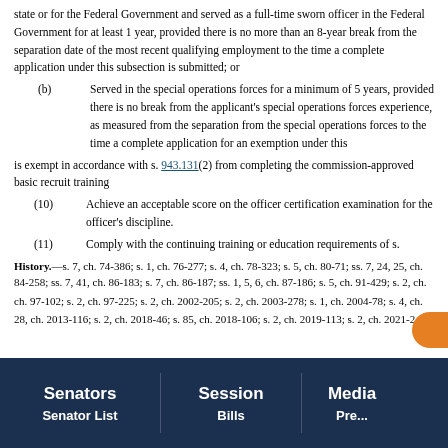state or for the Federal Government and served as a full-time sworn officer in the Federal Government for at least 1 year, provided there is no more than an 8-year break from the separation date of the most recent qualifying employment to the time a complete application under this subsection is submitted; or
(b) Served in the special operations forces for a minimum of 5 years, provided there is no break from the applicant's special operations forces experience, as measured from the separation from the special operations forces to the time a complete application for an exemption under this
is exempt in accordance with s. 943.131(2) from completing the commission-approved basic recruit training
(10) Achieve an acceptable score on the officer certification examination for the officer's discipline.
(11) Comply with the continuing training or education requirements of s.
History.—s. 7, ch. 74-386; s. 1, ch. 76-277; s. 4, ch. 78-323; s. 5, ch. 80-71; ss. 7, 24, 25, ch. 84-258; ss. 7, 41, ch. 86-183; s. 7, ch. 86-187; ss. 1, 5, 6, ch. 87-186; s. 5, ch. 91-429; s. 2, ch. ch. 97-102; s. 2, ch. 97-225; s. 2, ch. 2002-205; s. 2, ch. 2003-278; s. 1, ch. 2004-78; s. 4, ch. 28, ch. 2013-116; s. 2, ch. 2018-46; s. 85, ch. 2018-106; s. 2, ch. 2019-113; s. 2, ch. 2021-24
Senators | Senator List | Session | Bills | Media | Pre...